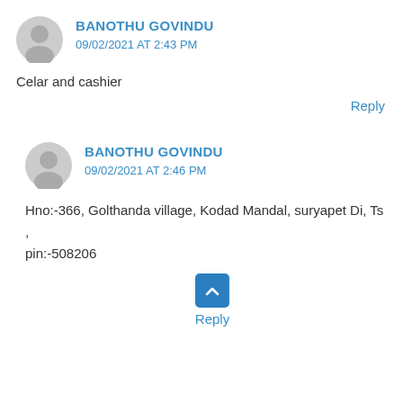BANOTHU GOVINDU
09/02/2021 AT 2:43 PM
Celar and cashier
Reply
BANOTHU GOVINDU
09/02/2021 AT 2:46 PM
Hno:-366, Golthanda village, Kodad Mandal, suryapet Di, Ts ,
pin:-508206
Reply